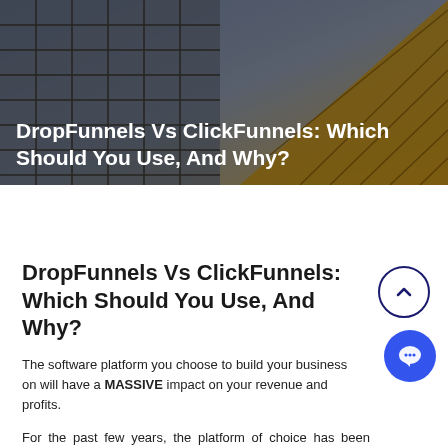[Figure (photo): Hero image of glass skyscraper buildings with dark overlay]
DropFunnels Vs ClickFunnels: Which Should You Use, And Why?
DropFunnels Vs ClickFunnels: Which Should You Use, And Why?
The software platform you choose to build your business on will have a MASSIVE impact on your revenue and profits.
For the past few years, the platform of choice has been ClickFunnels. I even built my entire List-Grow course around it